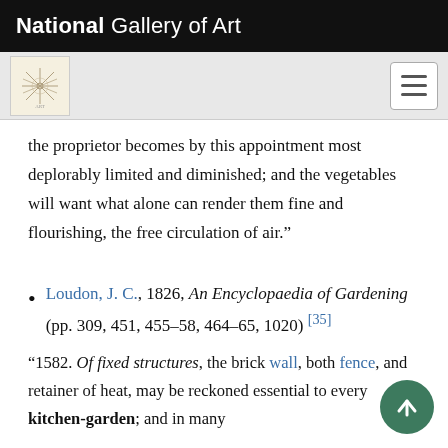National Gallery of Art
the proprietor becomes by this appointment most deplorably limited and diminished; and the vegetables will want what alone can render them fine and flourishing, the free circulation of air.”
Loudon, J. C., 1826, An Encyclopaedia of Gardening (pp. 309, 451, 455–58, 464–65, 1020) [35]
“1582. Of fixed structures, the brick wall, both fence, and retainer of heat, may be reckoned essential to every kitchen-garden; and in many